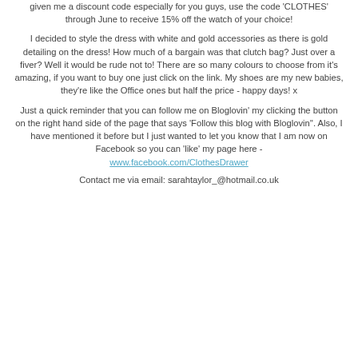given me a discount code especially for you guys, use the code 'CLOTHES' through June to receive 15% off the watch of your choice!
I decided to style the dress with white and gold accessories as there is gold detailing on the dress! How much of a bargain was that clutch bag? Just over a fiver? Well it would be rude not to! There are so many colours to choose from it's amazing, if you want to buy one just click on the link. My shoes are my new babies, they're like the Office ones but half the price - happy days! x
Just a quick reminder that you can follow me on Bloglovin' my clicking the button on the right hand side of the page that says 'Follow this blog with Bloglovin'. Also, I have mentioned it before but I just wanted to let you know that I am now on Facebook so you can 'like' my page here - www.facebook.com/ClothesDrawer
Contact me via email: sarahtaylor_@hotmail.co.uk